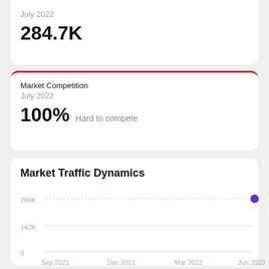July 2022
284.7K
Market Competition
July 2022
100% Hard to compete
Market Traffic Dynamics
[Figure (line-chart): Market Traffic Dynamics]